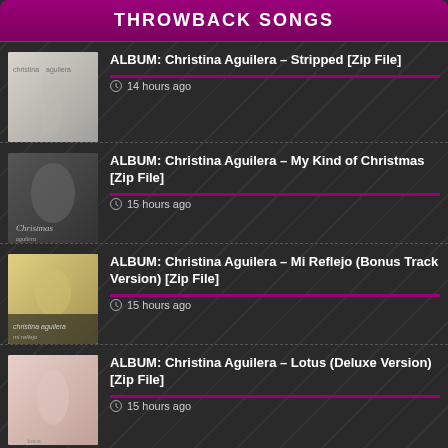THROWBACK SONGS
ALBUM: Christina Aguilera – Stripped [Zip File]
14 hours ago
ALBUM: Christina Aguilera – My Kind of Christmas [Zip File]
15 hours ago
ALBUM: Christina Aguilera – Mi Reflejo (Bonus Track Version) [Zip File]
15 hours ago
ALBUM: Christina Aguilera – Lotus (Deluxe Version) [Zip File]
15 hours ago